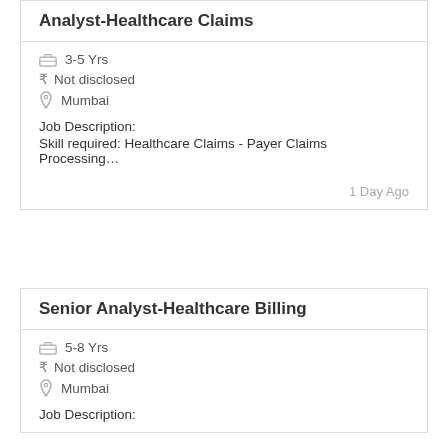Analyst-Healthcare Claims
3-5 Yrs
₹ Not disclosed
Mumbai
Job Description:
Skill required: Healthcare Claims - Payer Claims Processing…
1 Day Ago
Senior Analyst-Healthcare Billing
5-8 Yrs
₹ Not disclosed
Mumbai
Job Description: